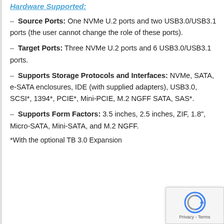Hardware Supported:
– Source Ports: One NVMe U.2 ports and two USB3.0/USB3.1 ports (the user cannot change the role of these ports).
– Target Ports: Three NVMe U.2 ports and 6 USB3.0/USB3.1 ports.
– Supports Storage Protocols and Interfaces: NVMe, SATA, e-SATA enclosures, IDE (with supplied adapters), USB3.0, SCSI*, 1394*, PCIE*, Mini-PCIE, M.2 NGFF SATA, SAS*.
– Supports Form Factors: 3.5 inches, 2.5 inches, ZIF, 1.8", Micro-SATA, Mini-SATA, and M.2 NGFF.
*With the optional TB 3.0 Expansion